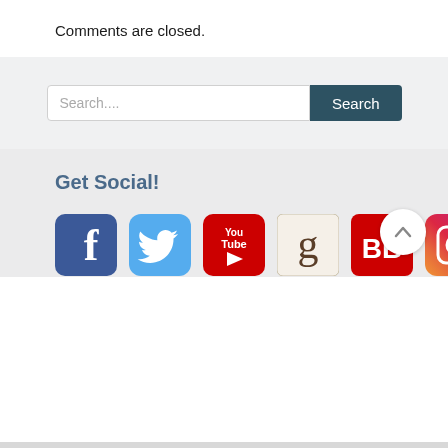Comments are closed.
[Figure (screenshot): Search bar with placeholder text 'Search....' and a dark teal 'Search' button]
Get Social!
[Figure (infographic): Row of six social media icons: Facebook, Twitter, YouTube, Goodreads, BookBub, Instagram]